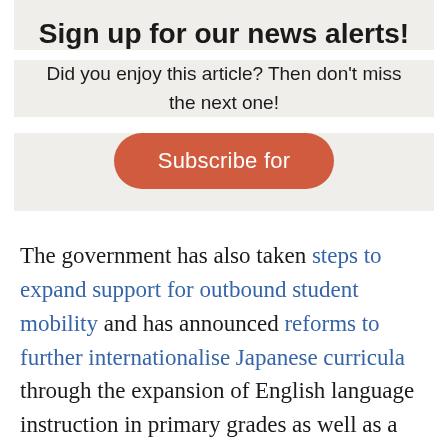Sign up for our news alerts!
Did you enjoy this article? Then don't miss the next one!
Subscribe for
The government has also taken steps to expand support for outbound student mobility and has announced reforms to further internationalise Japanese curricula through the expansion of English language instruction in primary grades as well as a proposed redesign of university entrance